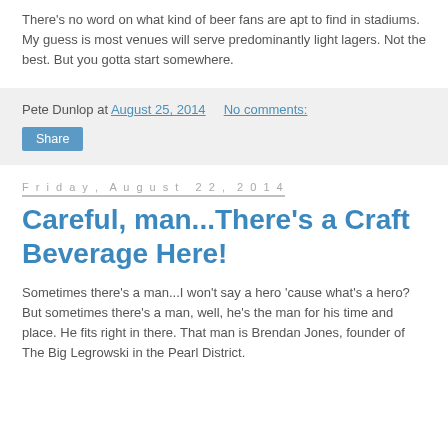There's no word on what kind of beer fans are apt to find in stadiums. My guess is most venues will serve predominantly light lagers. Not the best. But you gotta start somewhere.
Pete Dunlop at August 25, 2014   No comments:
Share
Friday, August 22, 2014
Careful, man...There's a Craft Beverage Here!
Sometimes there's a man...I won't say a hero 'cause what's a hero? But sometimes there's a man, well, he's the man for his time and place. He fits right in there. That man is Brendan Jones, founder of The Big Legrowski in the Pearl District.